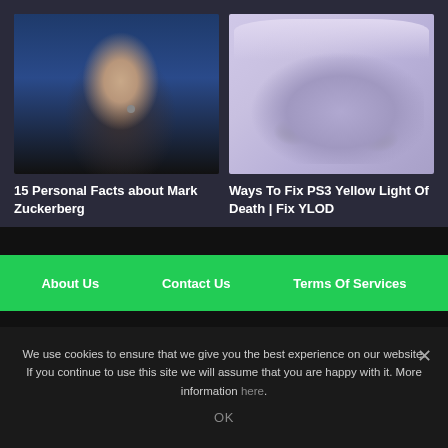[Figure (photo): Portrait photo of Mark Zuckerberg at a podium with microphone, blue background, wearing dark suit and tie]
[Figure (photo): PS3 gaming controller in purple/lavender tones with a console visible in background]
15 Personal Facts about Mark Zuckerberg
Ways To Fix PS3 Yellow Light Of Death | Fix YLOD
About Us   Contact Us   Terms Of Services
We use cookies to ensure that we give you the best experience on our website. If you continue to use this site we will assume that you are happy with it. More information here.
OK